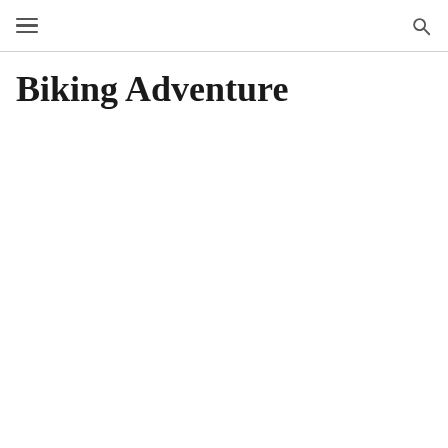[hamburger menu icon] [search icon]
Biking Adventure